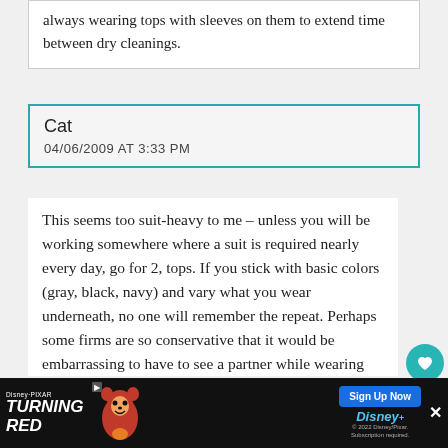always wearing tops with sleeves on them to extend time between dry cleanings.
Cat
04/06/2009 AT 3:33 PM
This seems too suit-heavy to me – unless you will be working somewhere where a suit is required nearly every day, go for 2, tops. If you stick with basic colors (gray, black, navy) and vary what you wear underneath, no one will remember the repeat. Perhaps some firms are so conservative that it would be embarrassing to have to see a partner while wearing business casual, but not mine (East Coast biglaw). For those days when I know I'll be particularly visible, I wear my most business-y business casual (nice slacks and a blouse, or a tailored dress, pearls…. as opposed to a still-professional but not quite as dressy cotton top and
[Figure (infographic): Advertisement for Disney/Pixar Turning Red movie with Disney+ Sign Up Now button and a cartoon red panda character. Includes close X button.]